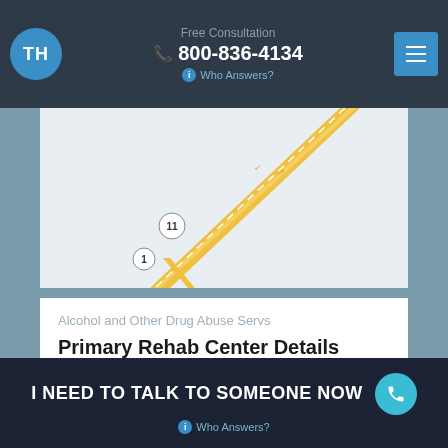Free Consultation 800-836-4134 Who Answers?
[Figure (map): Street map showing road with route markers 11, with yellow road diagonal across the map view]
Alcohol and Other Drug Abuse Servs
Primary Rehab Center Details
I NEED TO TALK TO SOMEONE NOW Who Answers?